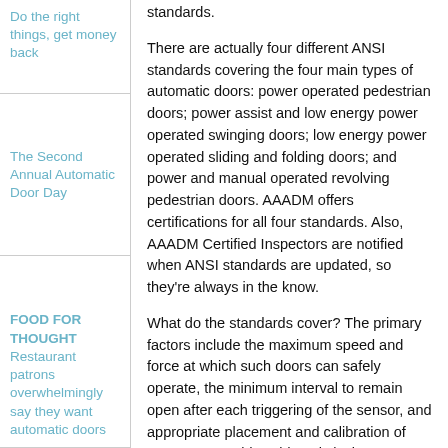Do the right things, get money back
The Second Annual Automatic Door Day
FOOD FOR THOUGHT Restaurant patrons overwhelmingly say they want automatic doors
standards.
There are actually four different ANSI standards covering the four main types of automatic doors: power operated pedestrian doors; power assist and low energy power operated swinging doors; low energy power operated sliding and folding doors; and power and manual operated revolving pedestrian doors. AAADM offers certifications for all four standards. Also, AAADM Certified Inspectors are notified when ANSI standards are updated, so they’re always in the know.
What do the standards cover? The primary factors include the maximum speed and force at which such doors can safely operate, the minimum interval to remain open after each triggering of the sensor, and appropriate placement and calibration of sensors to avoid accidental closings on occupied thresholds.
Each type of automatic door has its own nuances to understand, and automatic door field